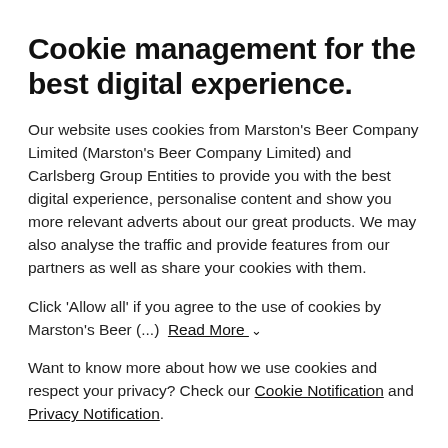Cookie management for the best digital experience.
Our website uses cookies from Marston's Beer Company Limited (Marston's Beer Company Limited) and Carlsberg Group Entities to provide you with the best digital experience, personalise content and show you more relevant adverts about our great products. We may also analyse the traffic and provide features from our partners as well as share your cookies with them.
Click 'Allow all' if you agree to the use of cookies by Marston's Beer (...) Read More ∨
Want to know more about how we use cookies and respect your privacy? Check our Cookie Notification and Privacy Notification.